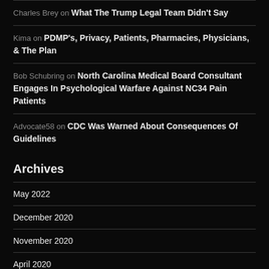Charles Brey on What The Trump Legal Team Didn't Say
Kima on PDMP's, Privacy, Patients, Pharmacies, Physicians, & The Plan
Bob Schubring on North Carolina Medical Board Consultant Engages In Psychological Warfare Against NC34 Pain Patients
Advocate58 on CDC Was Warned About Consequences Of Guidelines
Archives
May 2022
December 2020
November 2020
April 2020